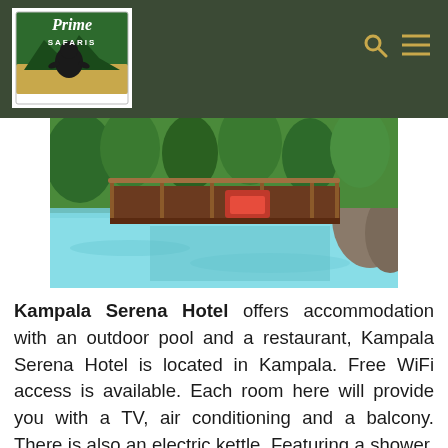Prime Safaris
[Figure (photo): Outdoor swimming pool area with wooden bridge/deck structure over blue water, surrounded by tropical vegetation and large rocks, with red vehicle partially visible]
Kampala Serena Hotel offers accommodation with an outdoor pool and a restaurant, Kampala Serena Hotel is located in Kampala. Free WiFi access is available. Each room here will provide you with a TV, air conditioning and a balcony. There is also an electric kettle. Featuring a shower, private bathroom also comes with